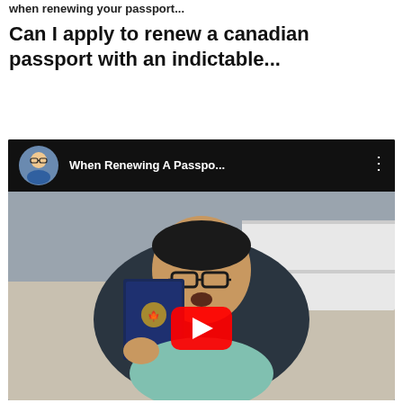when renewing your passport...
Can I apply to renew a canadian passport with an indictable...
[Figure (screenshot): YouTube video embed showing a man holding a Canadian passport with a play button overlay. Video title: 'When Renewing A Passpo...' with channel avatar in the top bar.]